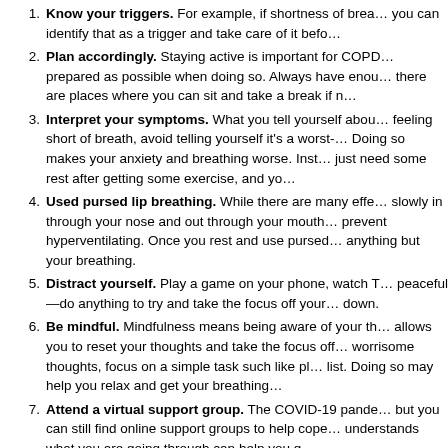Know your triggers. For example, if shortness of breath is triggered by something, you can identify that as a trigger and take care of it before it becomes worse.
Plan accordingly. Staying active is important for COPD patients, so try to be as prepared as possible when doing so. Always have enough medication with you and ensure there are places where you can sit and take a break if needed.
Interpret your symptoms. What you tell yourself about your breathlessness matters. If feeling short of breath, avoid telling yourself it's a worst-case scenario like a heart attack. Doing so makes your anxiety and breathing worse. Instead, remind yourself that you just need some rest after getting some exercise, and you will be okay.
Used pursed lip breathing. While there are many effective techniques, try breathing slowly in through your nose and out through your mouth, with your lips pursed, to prevent hyperventilating. Once you rest and use pursed lip breathing, try not to think of anything but your breathing.
Distract yourself. Play a game on your phone, watch TV, or do something that feels peaceful—do anything to try and take the focus off your breathing so it can calm down.
Be mindful. Mindfulness means being aware of your thoughts and feelings, which allows you to reset your thoughts and take the focus off your breathlessness. If you have worrisome thoughts, focus on a simple task such like planning your grocery or to-do list. Doing so may help you relax and get your breathing under control.
Attend a virtual support group. The COVID-19 pandemic has limited in-person meetings, but you can still find online support groups to help cope with COPD. Speaking with others who understands what you are going through can help you g